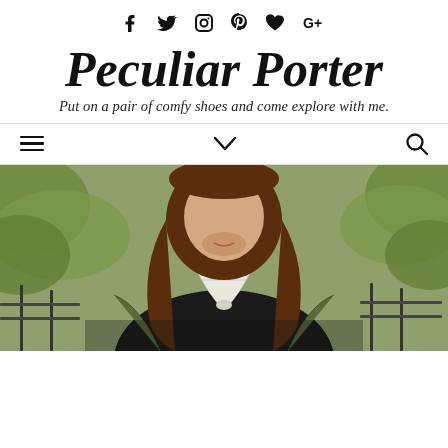Social icons: Facebook, Twitter, Instagram, Pinterest, Bloglovin, Google+
Peculiar Porter
Put on a pair of comfy shoes and come explore with me.
[Figure (other): Navigation bar with hamburger menu icon, chevron/dropdown icon, and search icon]
[Figure (photo): Photo of a woman with long brown hair wearing a black top with a white patterned scarf tied at the neck, an olive/army green jacket, standing outdoors with green foliage in the background behind a metal railing]